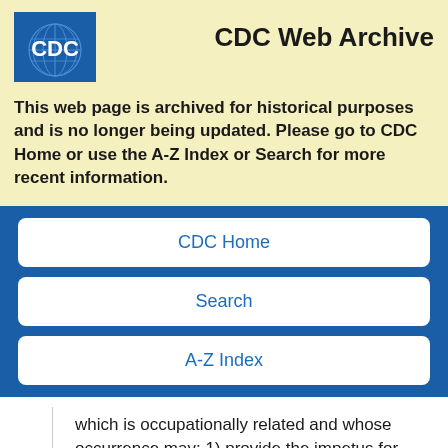[Figure (logo): CDC logo — blue square with white CDC text and globe/grid design]
CDC Web Archive
This web page is archived for historical purposes and is no longer being updated. Please go to CDC Home or use the A-Z Index or Search for more recent information.
CDC Home
Search
A-Z Index
which is occupationally related and whose occurrence may: 1) provide the impetus for epidemiologic or industrial hygiene studies; or 2) serve as